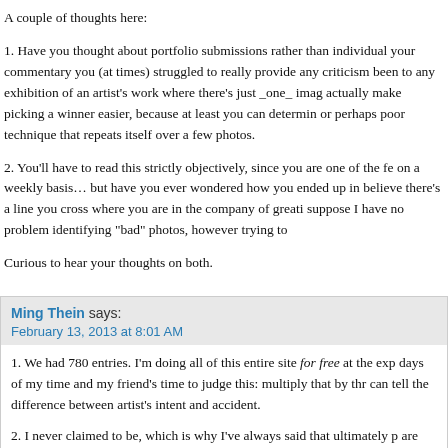A couple of thoughts here:
1. Have you thought about portfolio submissions rather than individual your commentary you (at times) struggled to really provide any criticism been to any exhibition of an artist’s work where there’s just _one_ imag actually make picking a winner easier, because at least you can determin or perhaps poor technique that repeats itself over a few photos.
2. You’ll have to read this strictly objectively, since you are one of the fe on a weekly basis… but have you ever wondered how you ended up in believe there’s a line you cross where you are in the company of greati suppose I have no problem identifying “bad” photos, however trying to
Curious to hear your thoughts on both.
Ming Thein says: February 13, 2013 at 8:01 AM
1. We had 780 entries. I’m doing all of this entire site for free at the exp days of my time and my friend’s time to judge this: multiply that by thr can tell the difference between artist’s intent and accident.
2. I never claimed to be, which is why I’ve always said that ultimately p are some hard and fast rules that make or break images – I’ve shot